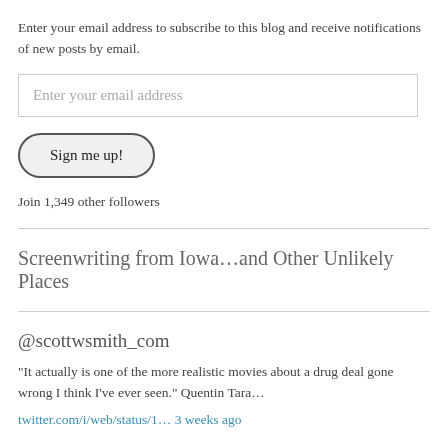Enter your email address to subscribe to this blog and receive notifications of new posts by email.
[Figure (other): Email input field with placeholder text 'Enter your email address']
[Figure (other): Button labeled 'Sign me up!']
Join 1,349 other followers
Screenwriting from Iowa…and Other Unlikely Places
@scottwsmith_com
“It actually is one of the more realistic movies about a drug deal gone wrong I think I’ve ever seen.” Quentin Tara…
twitter.com/i/web/status/1… 3 weeks ago